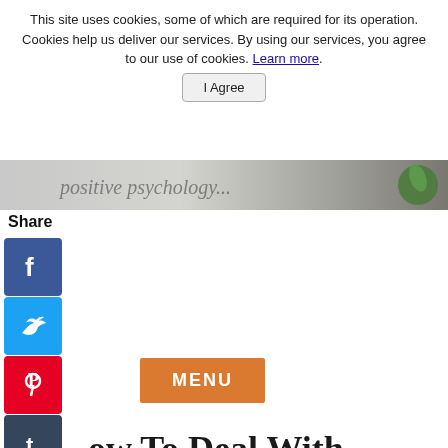This site uses cookies, some of which are required for its operation. Cookies help us deliver our services. By using our services, you agree to our use of cookies. Learn more.
I Agree
[Figure (photo): Header image with cursive/handwritten-style text and a green leaf/plant element on a textured background]
Share
[Figure (infographic): Column of social media share icons: Facebook (blue), Twitter (light blue), Pinterest (red), Tumblr (dark blue), Reddit (orange), WhatsApp (green)]
MENU
ow To Deal With Stress
hat Are You Afraid Of?
Catherine Pratt
www.Life-With-Confidence.com